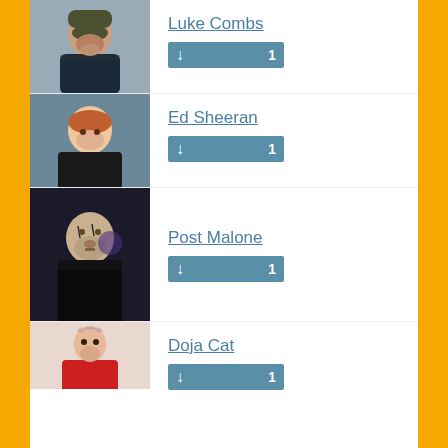[Figure (photo): Photo of Luke Combs wearing a cap, bearded man in dark jacket]
Luke Combs
↓ 1
[Figure (photo): Photo of Ed Sheeran with red hair in dark shirt]
Ed Sheeran
↓ 1
[Figure (photo): Photo of Post Malone with face tattoos at an event]
Post Malone
↓ 1
[Figure (photo): Photo of Doja Cat in red outfit]
Doja Cat
↓ 1